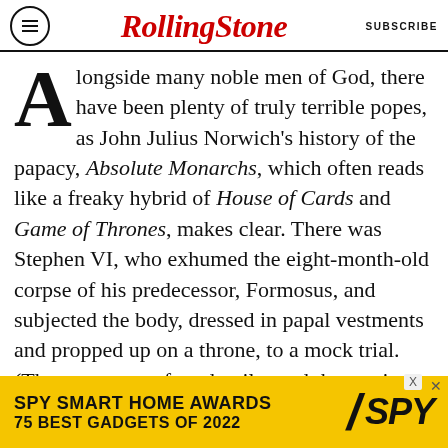RollingStone  SUBSCRIBE
Alongside many noble men of God, there have been plenty of truly terrible popes, as John Julius Norwich's history of the papacy, Absolute Monarchs, which often reads like a freaky hybrid of House of Cards and Game of Thrones, makes clear. There was Stephen VI, who exhumed the eight-month-old corpse of his predecessor, Formosus, and subjected the body, dressed in papal vestments and propped up on a throne, to a mock trial. (The corpse was found guilty and thrown into the Tiber.) Writing of the Church under Clement VI, elected in 1342, Petrarch described prostitutes “swarm[ing] on the papal beds,” adding, “I will not speak of adultery, seduction,
[Figure (other): SPY Smart Home Awards advertisement banner: yellow background with bold black text reading 'SPY SMART HOME AWARDS 75 BEST GADGETS OF 2022' and SPY logo with diagonal slash]